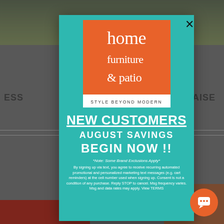[Figure (screenshot): Background webpage with blurred content showing furniture website with green/garden top image, partial text 'ESS' on left and 'AISE' on right, horizontal divider, and red/brown bottom strips]
[Figure (logo): Home Furniture & Patio logo — orange square with white serif text 'home furniture & patio' and white tagline bar reading 'STYLE BEYOND MODERN']
NEW CUSTOMERS
AUGUST SAVINGS
BEGIN NOW !!
*Note: Some Brand Exclusions Apply*
By signing up via text, you agree to receive recurring automated promotional and personalized marketing text messages (e.g. cart reminders) at the cell number used when signing up. Consent is not a condition of any purchase. Reply STOP to cancel. Msg frequency varies. Msg and data rates may apply. View TERMS